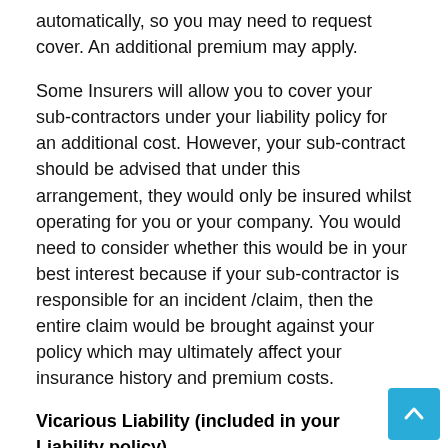automatically, so you may need to request cover. An additional premium may apply.
Some Insurers will allow you to cover your sub-contractors under your liability policy for an additional cost. However, your sub-contract should be advised that under this arrangement, they would only be insured whilst operating for you or your company. You would need to consider whether this would be in your best interest because if your sub-contractor is responsible for an incident /claim, then the entire claim would be brought against your policy which may ultimately affect your insurance history and premium costs.
Vicarious Liability (included in your Liability policy)
Even if your sub-contractor is responsible for an incident you may still be partly responsible/negligent as well. If a claim is brought against your sub-contractor, it is likely that their